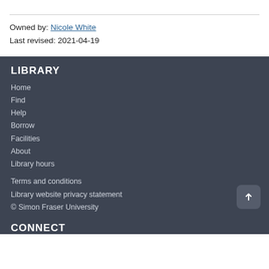Owned by: Nicole White
Last revised: 2021-04-19
LIBRARY
Home
Find
Help
Borrow
Facilities
About
Library hours
Terms and conditions
Library website privacy statement
© Simon Fraser University
CONNECT